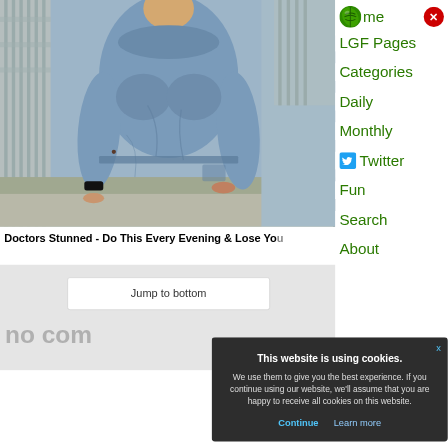[Figure (photo): Woman wearing gray/blue scrubs uniform, standing outdoors. Photo cropped to torso area, no head visible. Background shows a railing/fence.]
Doctors Stunned - Do This Every Evening & Lose Yo
Jump to bottom
no com
[Figure (logo): Green football/rugby ball logo next to 'me' text (home link)]
LGF Pages
Categories
Daily
Monthly
Twitter
Fun
Search
About
This website is using cookies.
We use them to give you the best experience. If you continue using our website, we'll assume that you are happy to receive all cookies on this website.
Continue
Learn more